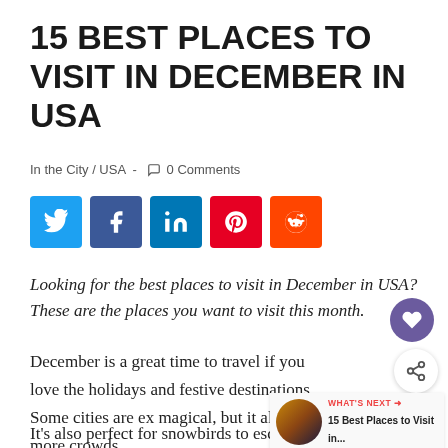15 BEST PLACES TO VISIT IN DECEMBER IN USA
In the City / USA  -  0 Comments
[Figure (infographic): Social sharing buttons: Twitter, Facebook, LinkedIn, Pinterest, Reddit]
Looking for the best places to visit in December in USA? These are the places you want to visit this month.
December is a great time to travel if you love the holidays and festive destinations. Some cities are ex magical, but it also draws more crowds.
It's also perfect for snowbirds to escape the cold or if